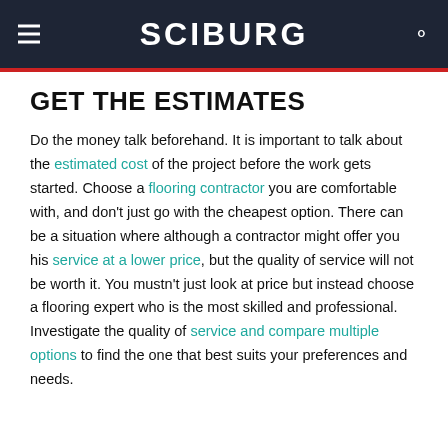SCIBURG
GET THE ESTIMATES
Do the money talk beforehand. It is important to talk about the estimated cost of the project before the work gets started. Choose a flooring contractor you are comfortable with, and don't just go with the cheapest option. There can be a situation where although a contractor might offer you his service at a lower price, but the quality of service will not be worth it. You mustn't just look at price but instead choose a flooring expert who is the most skilled and professional. Investigate the quality of service and compare multiple options to find the one that best suits your preferences and needs.